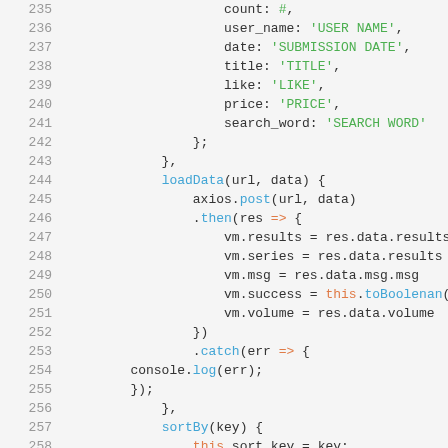Code snippet showing JavaScript lines 235-257+ with axios data loading logic